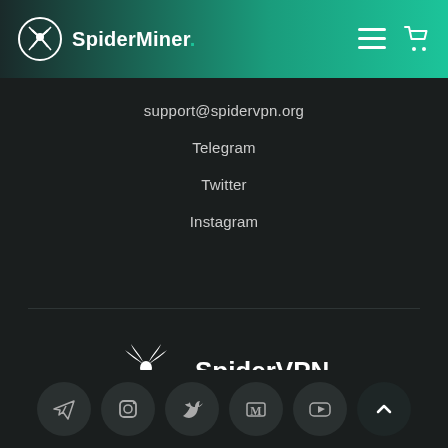SpiderMiner.
support@spidervpn.org
Telegram
Twitter
Instagram
[Figure (logo): SpiderVPN logo with spider icon and bold text 'SpiderVPN.' with teal dot]
© 2022 SpiderVPN. All Rights Reserved.